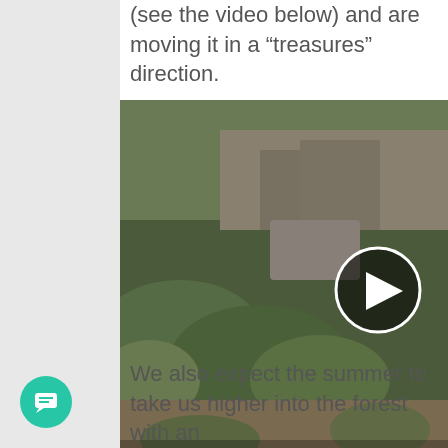(see the video below) and are moving it in a “treasures” direction.
[Figure (photo): Outdoor nature scene showing shrubs, dry ground, and a creek or ravine in muted green and brown tones. A video play button (white circle with triangle) is overlaid in the center-right. Caption reads: Posted by Amanda Rose.]
We also expect the summer to take us higher into the forest with an